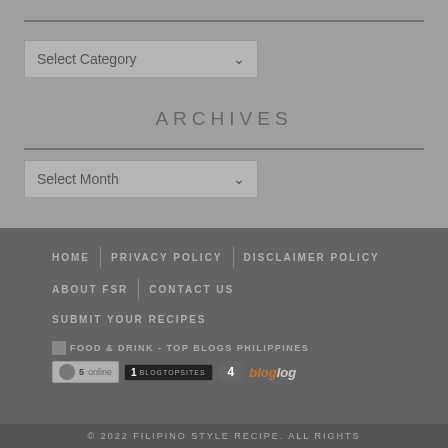Select Category
ARCHIVES
Select Month
HOME | PRIVACY POLICY | DISCLAIMER POLICY | ABOUT FSR | CONTACT US | SUBMIT YOUR RECIPES
[Figure (other): Food & Drink - Top Blogs Philippines badge and site counter badges including 5 online, blogtopsites rank 1, badge 4, and bloglog logo]
© 2022 FILIPINO STYLE RECIPE. ALL RIGHTS